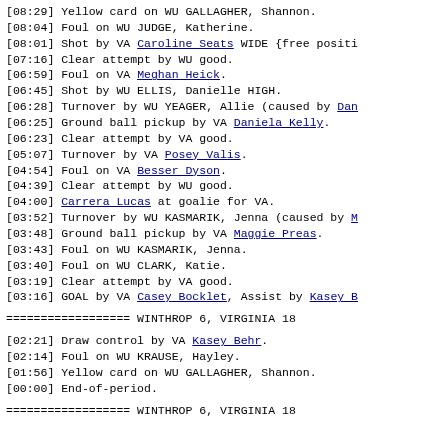[08:29] Yellow card on WU GALLAGHER, Shannon.
[08:04] Foul on WU JUDGE, Katherine.
[08:01] Shot by VA Caroline Seats WIDE {free positi
[07:16] Clear attempt by WU good.
[06:59] Foul on VA Meghan Heick.
[06:45] Shot by WU ELLIS, Danielle HIGH.
[06:28] Turnover by WU YEAGER, Allie (caused by Dan
[06:25] Ground ball pickup by VA Daniela Kelly.
[06:23] Clear attempt by VA good.
[05:07] Turnover by VA Posey Valis.
[04:54] Foul on VA Besser Dyson.
[04:39] Clear attempt by WU good.
[04:00] Carrera Lucas at goalie for VA.
[03:52] Turnover by WU KASMARIK, Jenna (caused by M
[03:48] Ground ball pickup by VA Maggie Preas.
[03:43] Foul on WU KASMARIK, Jenna.
[03:40] Foul on WU CLARK, Katie.
[03:19] Clear attempt by VA good.
[03:16] GOAL by VA Casey Bocklet, Assist by Kasey B
==================  WINTHROP 6, VIRGINIA 18
[02:21] Draw control by VA Kasey Behr.
[02:14] Foul on WU KRAUSE, Hayley.
[01:56] Yellow card on WU GALLAGHER, Shannon.
[00:00] End-of-period.
==================  WINTHROP 6, VIRGINIA 18